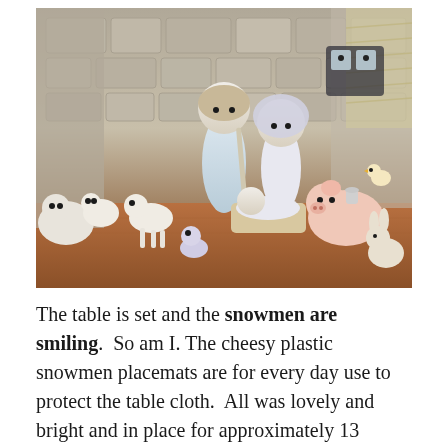[Figure (photo): A collection of Precious Moments ceramic figurines arranged as a nativity scene. The figurines include child-like figures with large eyes, lambs, a pig, a rabbit, a small poodle, and a chicken, set against stone-textured backdrop pieces on a wooden surface.]
The table is set and the snowmen are smiling.  So am I.  The cheesy plastic snowmen placemats are for every day use to protect the table cloth.  All was lovely and bright and in place for approximately 13 minutes before four